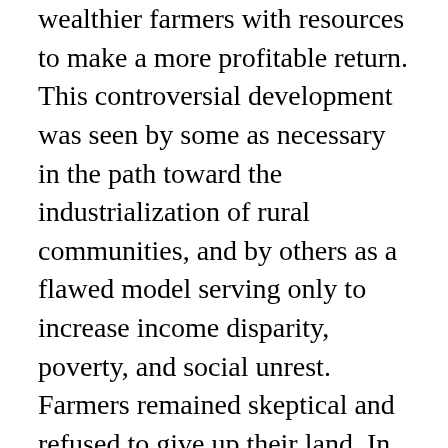wealthier farmers with resources to make a more profitable return. This controversial development was seen by some as necessary in the path toward the industrialization of rural communities, and by others as a flawed model serving only to increase income disparity, poverty, and social unrest. Farmers remained skeptical and refused to give up their land. In some cases, minimal compensation was afforded for land as a result of dubious transactions, and in others, farmers were forced out by coercion and violence. The IFA's “Save Our Farmers” project has been in operation for over a year and has committed funds to build awareness